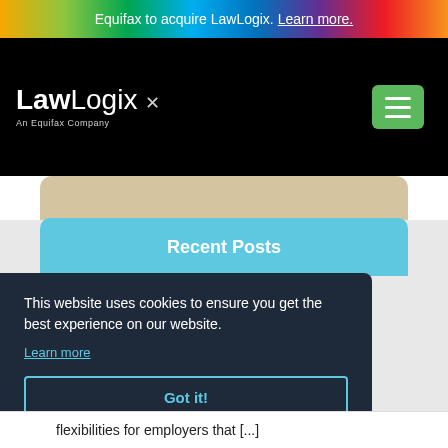Equifax to acquire LawLogix. Learn more.
[Figure (logo): LawLogix – An Equifax Company logo on black navigation bar with green hamburger menu button]
Recent Posts
This website uses cookies to ensure you get the best experience on our website.
Learn more
Got it!
flexibilities for employers that [...]